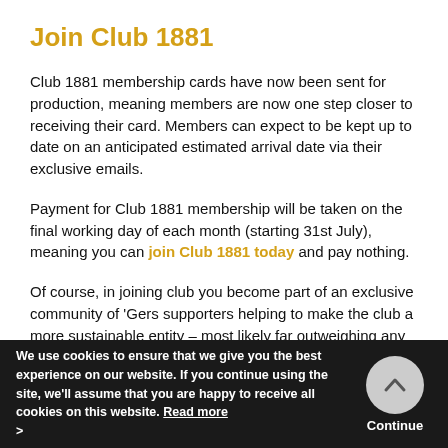Join Club 1881
Club 1881 membership cards have now been sent for production, meaning members are now one step closer to receiving their card. Members can expect to be kept up to date on an anticipated estimated arrival date via their exclusive emails.
Payment for Club 1881 membership will be taken on the final working day of each month (starting 31st July), meaning you can join Club 1881 today and pay nothing.
Of course, in joining club you become part of an exclusive community of 'Gers supporters helping to make the club a more sustainable entity – most likely far outweighing any other benefit for fans of the club.
Business membership is also available, more of which
We use cookies to ensure that we give you the best experience on our website. If you continue using the site, we'll assume that you are happy to receive all cookies on this website. Read more >